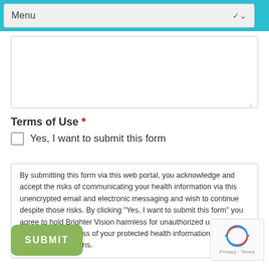Menu
Terms of Use *
Yes, I want to submit this form
By submitting this form via this web portal, you acknowledge and accept the risks of communicating your health information via this unencrypted email and electronic messaging and wish to continue despite those risks. By clicking "Yes, I want to submit this form" you agree to hold Brighter Vision harmless for unauthorized use, disclosure, or access of your protected health information sent via this electronic means.
SUBMIT
[Figure (logo): reCAPTCHA logo with Privacy and Terms text]